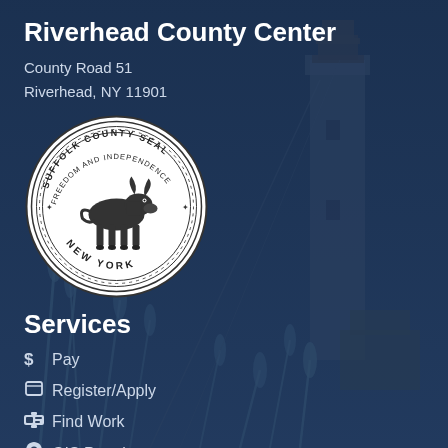Riverhead County Center
County Road 51
Riverhead, NY 11901
[Figure (logo): Suffolk County Seal - circular seal with a bull/ox in the center, text reading SUFFOLK COUNTY SEAL around the top, FREEDOM AND INDEPENDENCE in the middle band, and NEW YORK around the bottom]
Services
$ Pay
Register/Apply
Find Work
GIS Portal
Land Search